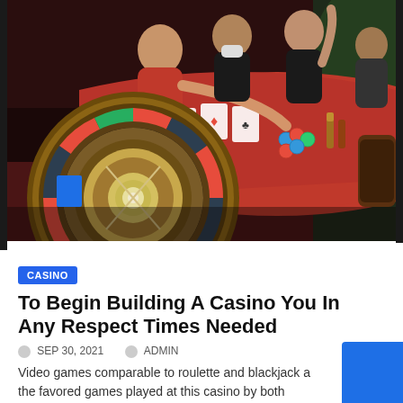[Figure (photo): Casino scene with roulette wheel in foreground and people celebrating around a red felt blackjack/poker table in the background]
CASINO
To Begin Building A Casino You In Any Respect Times Needed
SEP 30, 2021   ADMIN
Video games comparable to roulette and blackjack a the favored games played at this casino by both